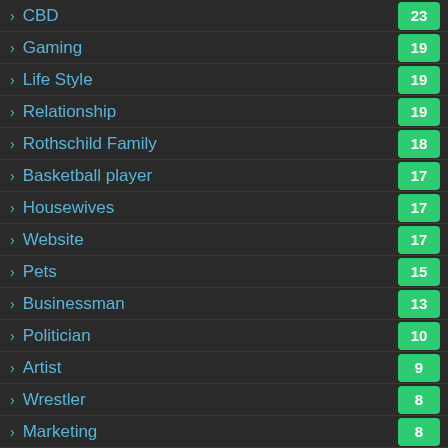CBD
Gaming
Life Style
Relationship
Rothschild Family
Basketball player
Housewives
Website
Pets
Businessman
Politician
Artist
Wrestler
Marketing
Model